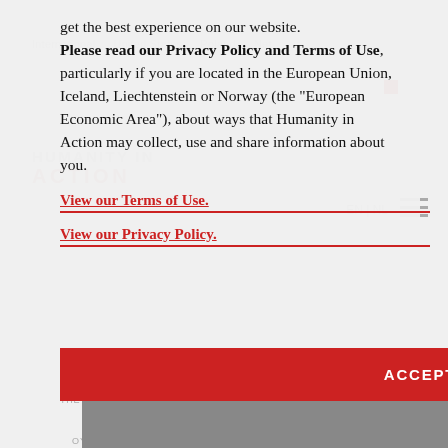get the best experience on our website. Please read our Privacy Policy and Terms of Use, particularly if you are located in the European Union, Iceland, Liechtenstein or Norway (the “European Economic Area”), about ways that Humanity in Action may collect, use and share information about you.
View our Terms of Use.
View our Privacy Policy.
Lievnath Faber
2020 Landecker Democracy Fellowship
ACCEPT